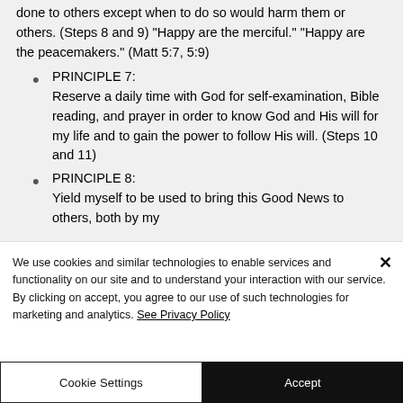done to others except when to do so would harm them or others. (Steps 8 and 9) "Happy are the merciful." "Happy are the peacemakers." (Matt 5:7, 5:9)
PRINCIPLE 7: Reserve a daily time with God for self-examination, Bible reading, and prayer in order to know God and His will for my life and to gain the power to follow His will. (Steps 10 and 11)
PRINCIPLE 8: Yield myself to be used to bring this Good News to others, both by my
We use cookies and similar technologies to enable services and functionality on our site and to understand your interaction with our service. By clicking on accept, you agree to our use of such technologies for marketing and analytics. See Privacy Policy
Cookie Settings
Accept